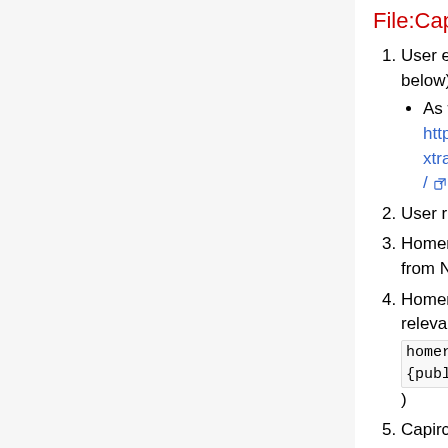File:Capirca.png
User edits relevant files (see below)
As well as runs https://netbox.wikimedia.org/extras/scripts/capirca.GetHosts/
User run Homer
Homer pulls the hosts definitions from Netbox
Homer executes Capirca for each relevant policy files (defined in homer-{public|private}/config/{de} )
Capirca takes all the (hosts/services) definition files as input, as well as the policy files (while following the includes) and